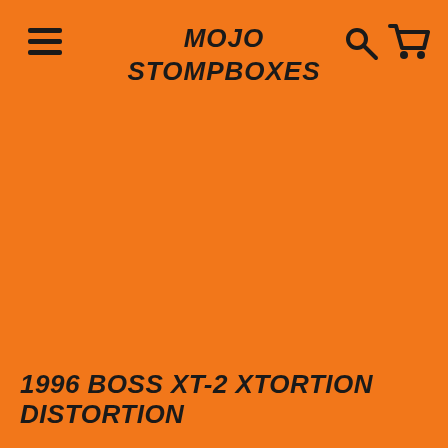MOJO STOMPBOXES
1996 BOSS XT-2 XTORTION DISTORTION